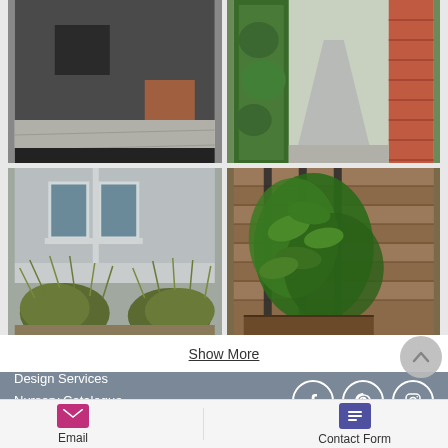[Figure (photo): 2x2 grid of garden/landscape photos: top-left shows modern dark building exterior with paved area, top-right shows garden path with hedges and brick wall, bottom-left shows house exterior with ornamental grasses, bottom-right shows vertical garden with wood slat fence and large leafy plants]
Show More
Design Services
Nursery Catalogue
Contact Us
[Figure (illustration): Social media icons: Facebook, Pinterest, Instagram in white circles on grey background]
Email
Contact Form